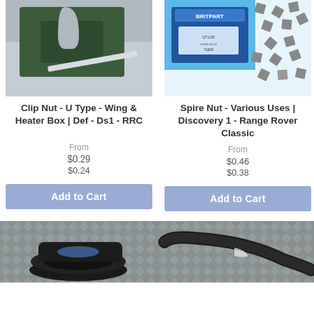[Figure (photo): Green plastic U-type clip nut part on metallic surface]
[Figure (photo): Britpart branded spire nuts in bag with loose metal spire nuts scattered]
Clip Nut - U Type - Wing & Heater Box | Def - Ds1 - RRC
Spire Nut - Various Uses | Discovery 1 - Range Rover Classic
From
$0.29
$0.24
From
$0.46
$0.38
Add to Cart
Add to Cart
[Figure (photo): Black rubber hose/seal part on diamond plate metal surface]
[Figure (photo): Black curved rubber hose on diamond plate metal surface]